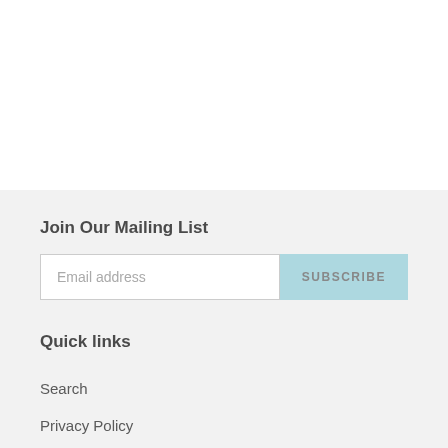Join Our Mailing List
Email address
SUBSCRIBE
Quick links
Search
Privacy Policy
Refund and Exchanges